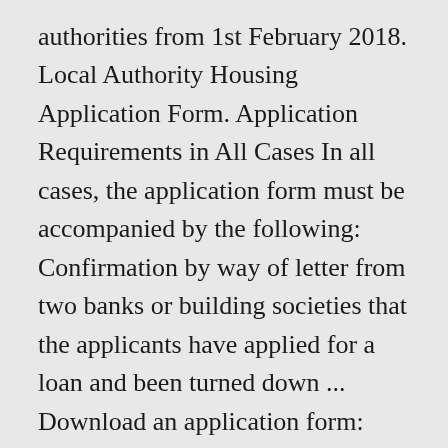authorities from 1st February 2018. Local Authority Housing Application Form. Application Requirements in All Cases In all cases, the application form must be accompanied by the following: Confirmation by way of letter from two banks or building societies that the applicants have applied for a loan and been turned down ... Download an application form: Rebuilding Ireland Home Loan Application Form. Application Form. Rebuilding Ireland Home Loan Application Form. The Local Infrastructure Housing Activation Fund (LIHAF) is a key element of Pillar 3 of Rebuilding Ireland: An Action Plan for Housing & Homelessness. and conditions, and